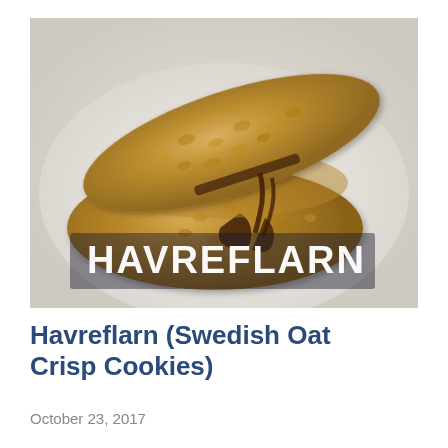[Figure (photo): Photo of Havreflarn (Swedish oat crisp cookies) stacked on a plate. Two thin, lacy oat cookies with chocolate filling, one propped against the other. White text 'HAVREFLARN' overlaid in bold capitals on the lower portion of the image.]
Havreflarn (Swedish Oat Crisp Cookies)
October 23, 2017